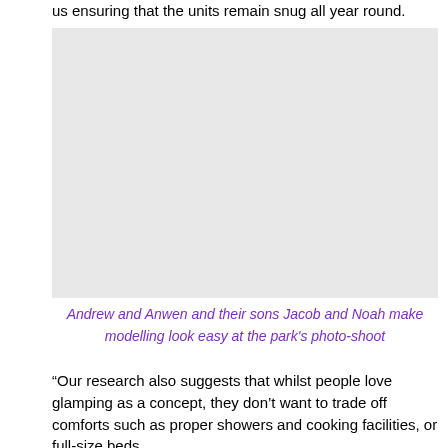us ensuring that the units remain snug all year round.
[Figure (photo): Photo of Andrew and Anwen and their sons Jacob and Noah at a park photo-shoot (placeholder area)]
Andrew and Anwen and their sons Jacob and Noah make modelling look easy at the park's photo-shoot
“Our research also suggests that whilst people love glamping as a concept, they don’t want to trade off comforts such as proper showers and cooking facilities, or full-size beds.